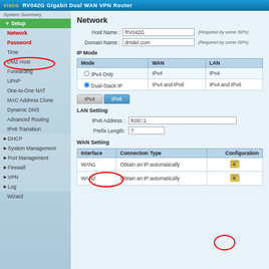cisco RV042G Gigabit Dual WAN VPN Router
Network
Host Name: RV042G  (Required by some ISPs)
Domain Name: dmdel.com  (Required by some ISPs)
IP Mode
| Mode | WAN | LAN |
| --- | --- | --- |
| IPv4 Only | IPv4 | IPv4 |
| Dual-Stack IP | IPv4 and IPv6 | IPv4 and IPv6 |
IPv4  IPv6 (tabs)
LAN Setting
IPv6 Address: fc00::1
Prefix Length: 7
WAN Setting
| Interface | Connection Type | Configuration |
| --- | --- | --- |
| WAN1 | Obtain an IP automatically |  |
| WAN2 | Obtain an IP automatically |  |